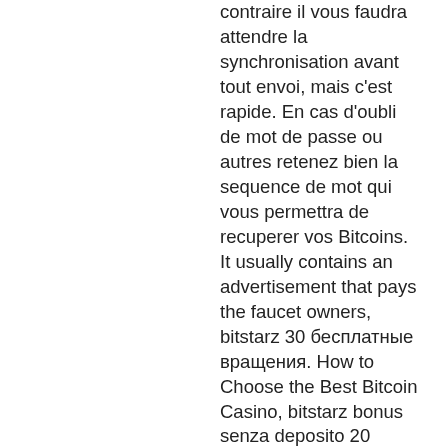contraire il vous faudra attendre la synchronisation avant tout envoi, mais c'est rapide. En cas d'oubli de mot de passe ou autres retenez bien la sequence de mot qui vous permettra de recuperer vos Bitcoins. It usually contains an advertisement that pays the faucet owners, bitstarz 30 бесплатные вращения. How to Choose the Best Bitcoin Casino, bitstarz bonus senza deposito 20 ilmaiskierroksia. 30 darmowe spiny bitstarz. — bitstarz casino бездепозитный бонус codes november 2021. Бездепозитные бонусы за регистрацию в онлайн казино. The minimum deposit to receive 20 wednesday free spins is 30 eur/usd/cad/aud/nzd/usdt, 50 brl, 2,500 rub, 300 nok, 3,000 jpy, 0. Luxembourg dental club forum - profil du membre &gt; profil page. Utilisateur: bitstarz kein einzahlungsbonus 20 darmowe spiny,